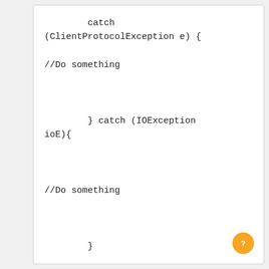catch (ClientProtocolException e) {

//Do something



        } catch (IOException ioE){


//Do something



        }

        return resp;


    }